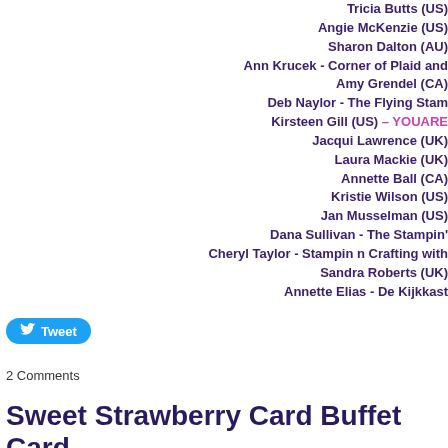Tricia Butts (US)
Angie McKenzie (US)
Sharon Dalton (AU)
Ann Krucek - Corner of Plaid and
Amy Grendel (CA)
Deb Naylor - The Flying Stam
Kirsteen Gill (US) - YOUARE
Jacqui Lawrence (UK)
Laura Mackie (UK)
Annette Ball (CA)
Kristie Wilson (US)
Jan Musselman (US)
Dana Sullivan - The Stampin'
Cheryl Taylor - Stampin n Crafting with
Sandra Roberts (UK)
Annette Elias - De Kijkkast
[Figure (other): Tweet button with Twitter bird icon]
2 Comments
Sweet Strawberry Card Buffet Card